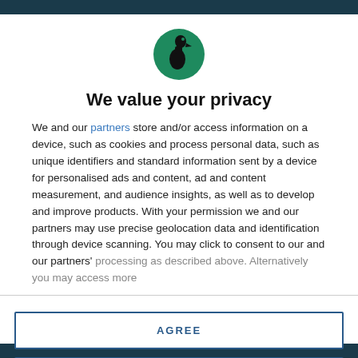[Figure (logo): Circular green logo with a black silhouette of a figure (knight/rook) facing left]
We value your privacy
We and our partners store and/or access information on a device, such as cookies and process personal data, such as unique identifiers and standard information sent by a device for personalised ads and content, ad and content measurement, and audience insights, as well as to develop and improve products. With your permission we and our partners may use precise geolocation data and identification through device scanning. You may click to consent to our and our partners' processing as described above. Alternatively you may access more
AGREE
MORE OPTIONS